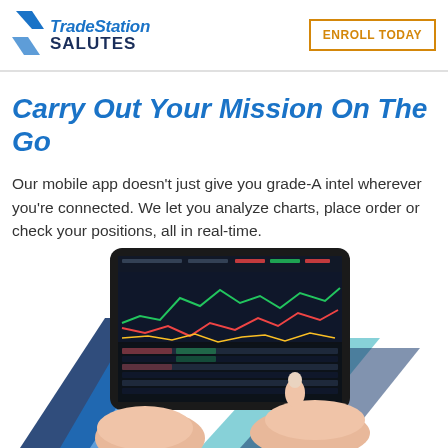TradeStation SALUTES | ENROLL TODAY
Carry Out Your Mission On The Go
Our mobile app doesn’t just give you grade-A intel wherever you’re connected. We let you analyze charts, place order or check your positions, all in real-time.
[Figure (photo): Hands holding a tablet device displaying a financial trading platform with stock charts and data tables, with a blue geometric chevron design in the background.]